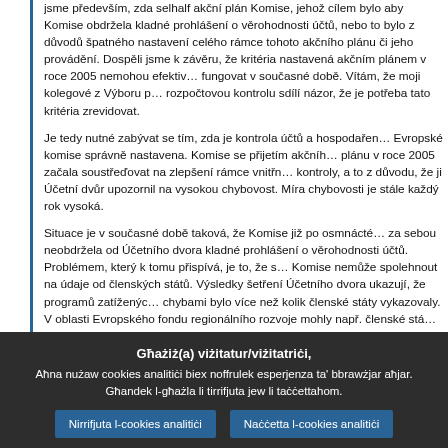jsme především, zda selhalf akční plán Komise, jehož cílem bylo aby Komise obdržela kladné prohlášení o věrohodnosti účtů, nebo to bylo z důvodů špatného nastavení celého rámce tohoto akčního plánu či jeho provádění. Dospěli jsme k závěru, že kritéria nastavená akčním plánem v roce 2005 nemohou efektivně fungovat v současné době. Vítám, že moji kolegové z Výboru pro rozpočtovou kontrolu sdílí názor, že je potřeba tato kritéria zrevidovat.
Je tedy nutné zabývat se tím, zda je kontrola účtů a hospodaření Evropské komise správně nastavena. Komise se přijetím akčního plánu v roce 2005 začala soustřeďovat na zlepšení rámce vnitřní kontroly, a to z důvodu, že ji Účetní dvůr upozornil na vysokou chybovost. Míra chybovosti je stále každý rok vysoká.
Situace je v současné době taková, že Komise již po osmnácté za sebou neobdržela od Účetního dvora kladné prohlášení o věrohodnosti účtů. Problémem, který k tomu přispívá, je to, že se Komise nemůže spolehnout na údaje od členských států. Výsledky šetření Účetního dvora ukazují, že programů zatížených chybami bylo více než kolik členské státy vykazovaly. V oblasti Evropského fondu regionálního rozvoje mohly např. členské státy samy identifikovat a opravit 62 % chyb, v oblasti Evropského sociálního fondu 76 % chyb.
Komise a Účetní dvůr musí tedy vyvinout tlak na členské státy
Għażiż(a) viżitatur/viżitatriċi,
Aħna nużaw cookies analitiċi biex noffrulek esperjenza ta' bbrawżjar aħjar.
Għandek l-għażla li tirrifjuta jew li taċċettahom.